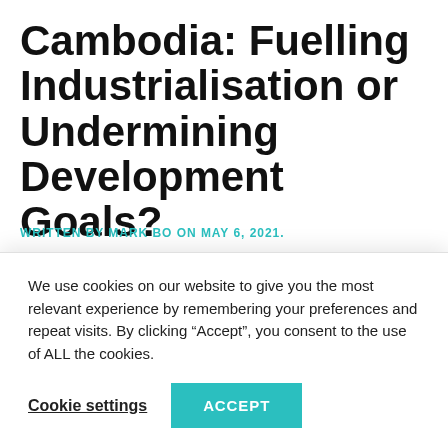Cambodia: Fuelling Industrialisation or Undermining Development Goals?
WRITTEN BY MARK BO ON MAY 6, 2021.
In early 2020, Cambodian authorities fast-tracked approval of two new coal plants. Soon after, they also signed a memorandum of understanding with the L...
We use cookies on our website to give you the most relevant experience by remembering your preferences and repeat visits. By clicking “Accept”, you consent to the use of ALL the cookies.